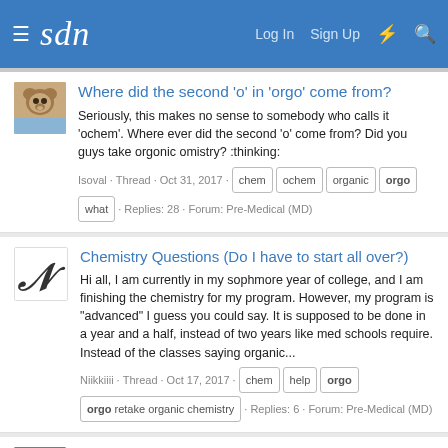sdn | Log In  Sign Up
Where did the second 'o' in 'orgo' come from?
Seriously, this makes no sense to somebody who calls it 'ochem'. Where ever did the second 'o' come from? Did you guys take orgonic omistry? :thinking:
Isoval · Thread · Oct 31, 2017 · chem  ochem  organic  orgo  what · Replies: 28 · Forum: Pre-Medical (MD)
Chemistry Questions (Do I have to start all over?)
Hi all, I am currently in my sophmore year of college, and I am finishing the chemistry for my program. However, my program is "advanced" I guess you could say. It is supposed to be done in a year and a half, instead of two years like med schools require. Instead of the classes saying organic...
Niikkiiii · Thread · Oct 17, 2017 · chem  help  orgo  orgo retake organic chemistry · Replies: 6 · Forum: Pre-Medical (MD)
WANTED: TBR Orgo and Chem